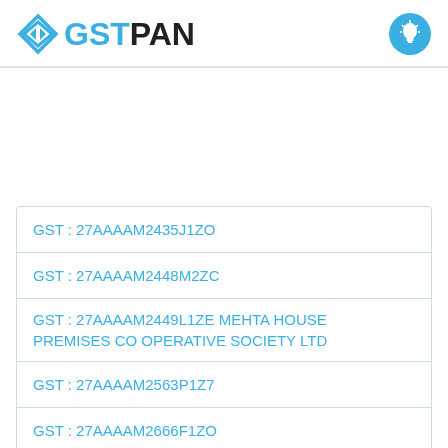[Figure (logo): GSTPAN logo with diamond/arrow icon in blue and black text, and a blue circle lightbulb icon on the right]
| GST : 27AAAAM2435J1ZO |
| GST : 27AAAAM2448M2ZC |
| GST : 27AAAAM2449L1ZE MEHTA HOUSE PREMISES CO OPERATIVE SOCIETY LTD |
| GST : 27AAAAM2563P1Z7 |
| GST : 27AAAAM2666F1ZO |
| GST : 27AAAAM2... |